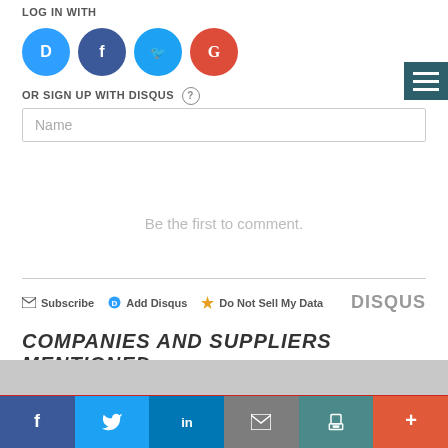LOG IN WITH
[Figure (illustration): Four social login icon buttons: Disqus (blue D), Facebook (dark blue f), Twitter (light blue bird), Google (red G)]
[Figure (illustration): Hamburger menu button - three horizontal white lines on dark teal background]
OR SIGN UP WITH DISQUS (?)
Name
Be the first to comment.
Subscribe  Add Disqus  Do Not Sell My Data    DISQUS
COMPANIES AND SUPPLIERS MENTIONED
[Figure (illustration): Social share bar at bottom with Facebook, Twitter, LinkedIn, Email, Print, and Plus buttons]